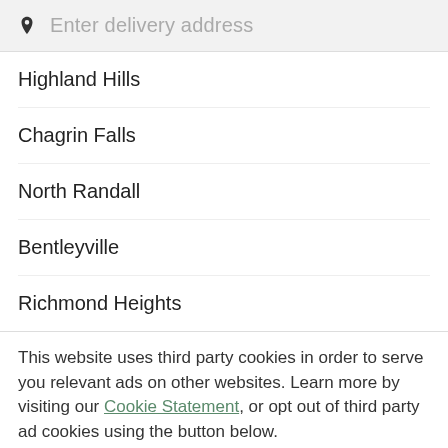[Figure (screenshot): Search bar with location pin icon and placeholder text 'Enter delivery address' on a light grey background]
Highland Hills
Chagrin Falls
North Randall
Bentleyville
Richmond Heights
This website uses third party cookies in order to serve you relevant ads on other websites. Learn more by visiting our Cookie Statement, or opt out of third party ad cookies using the button below.
OPT OUT
GOT IT